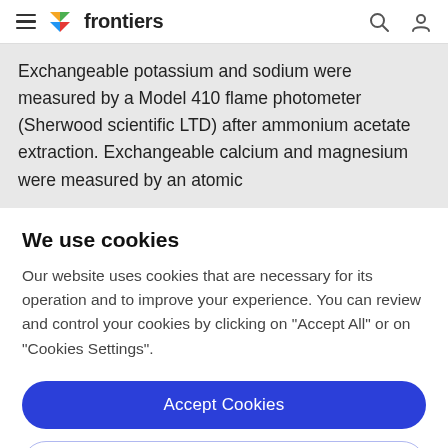frontiers
Exchangeable potassium and sodium were measured by a Model 410 flame photometer (Sherwood scientific LTD) after ammonium acetate extraction. Exchangeable calcium and magnesium were measured by an atomic
We use cookies
Our website uses cookies that are necessary for its operation and to improve your experience. You can review and control your cookies by clicking on "Accept All" or on "Cookies Settings".
Accept Cookies
Cookies Settings